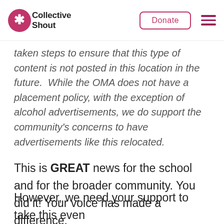Collective Shout | Donate
taken steps to ensure that this type of content is not posted in this location in the future. While the OMA does not have a placement policy, with the exception of alcohol advertisements, we do support the community's concerns to have advertisements like this relocated.
This is GREAT news for the school and for the broader community. You did it! Your voice has made a difference.
However, we need your support to take this even